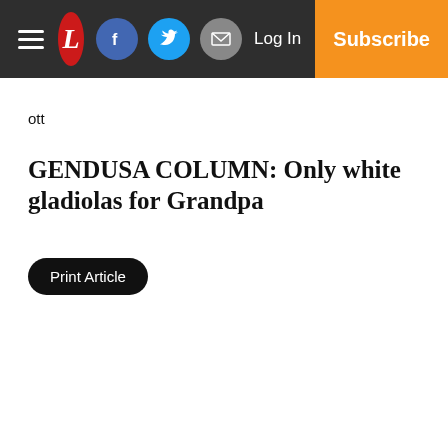L [logo] | Facebook | Twitter | Mail | Log In | Subscribe
ott
GENDUSA COLUMN: Only white gladiolas for Grandpa
Print Article